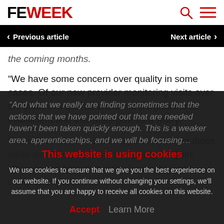FE WEEK
Previous article | Next article
the coming months.
“We have some concern over quality in some cases. Of our new provider monitoring visits over the year, in a quarter we found progress to be insufficient and that does give us a worry.
“We will continue to look very closely within those visits and follow-up what the quality is/ Quite often we are finding that the leadership isn’t sharp enough t…
“And what we really are finding sometimes that the actions that we have pointed out that are needed haven’t been taken quickly enough. This is a weaker area, apprenticeships, and we will be focusing…
This website is using cookies
We use cookies to ensure that we give you the best experience on our website. If you continue without changing your settings, we’ll assume that you are happy to receive all cookies on this website.
Accept  Learn More